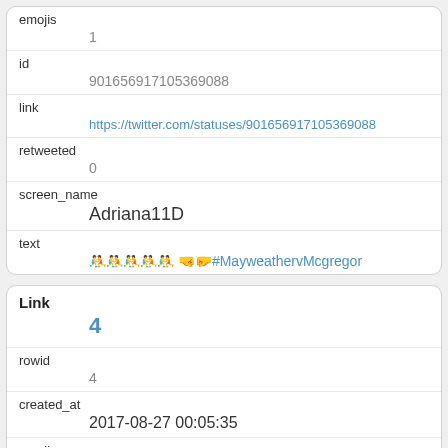| emojis | 1 |
| id | 901656917105369088 |
| link | https://twitter.com/statuses/901656917105369088 |
| retweeted | 0 |
| screen_name | Adriana11D |
| text | 🤼🤼🤼🤼🤼 🤜🤛#MayweathervMcgregor |
| Link | 4 |
| rowid | 4 |
| created_at | 2017-08-27 00:05:35 |
| emojis |  |